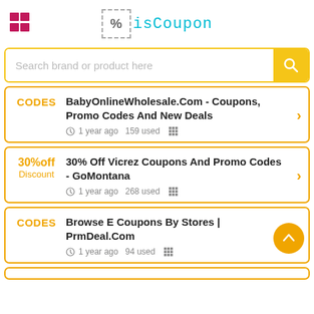isCoupon logo and hamburger menu
Search brand or product here
CODES | BabyOnlineWholesale.Com - Coupons, Promo Codes And New Deals | 1 year ago 159 used
30%off Discount | 30% Off Vicrez Coupons And Promo Codes - GoMontana | 1 year ago 268 used
CODES | Browse E Coupons By Stores | PrmDeal.Com | 1 year ago 94 used